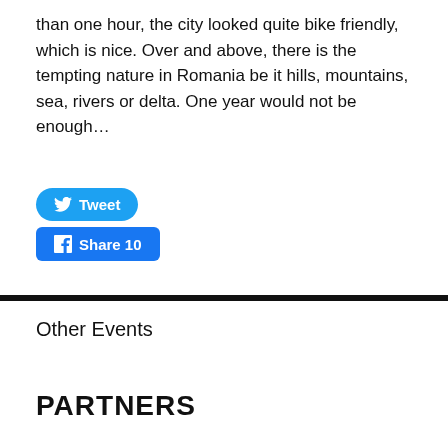than one hour, the city looked quite bike friendly, which is nice. Over and above, there is the tempting nature in Romania be it hills, mountains, sea, rivers or delta. One year would not be enough…
[Figure (other): Twitter Tweet button and Facebook Share 10 button]
Other Events
PARTNERS